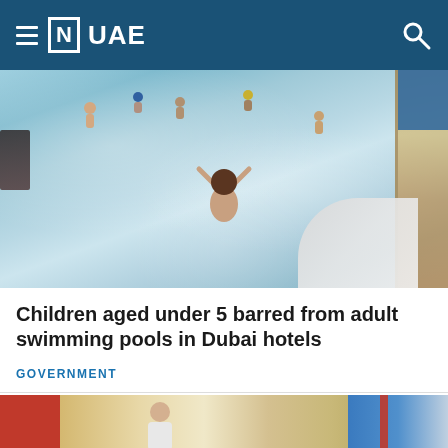≡ [N] UAE
[Figure (photo): Aerial view of children swimming in an indoor pool, one child with arms raised in the foreground near a water slide]
Children aged under 5 barred from adult swimming pools in Dubai hotels
GOVERNMENT
[Figure (photo): Partial image of a medical or healthcare scene with red and blue elements visible]